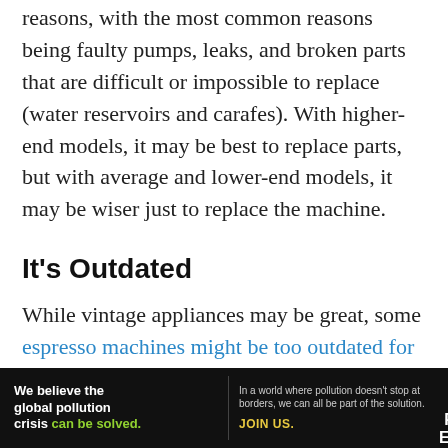reasons, with the most common reasons being faulty pumps, leaks, and broken parts that are difficult or impossible to replace (water reservoirs and carafes). With higher-end models, it may be best to replace parts, but with average and lower-end models, it may be wiser just to replace the machine.
It's Outdated
While vintage appliances may be great, some espresso machines might be too outdated for practicality. Older models might lack trending features like electronic displays, tea
[Figure (other): Advertisement banner for Pure Earth: 'We believe the global pollution crisis can be solved.' with tagline about world pollution and JOIN US call to action, with Pure Earth logo.]